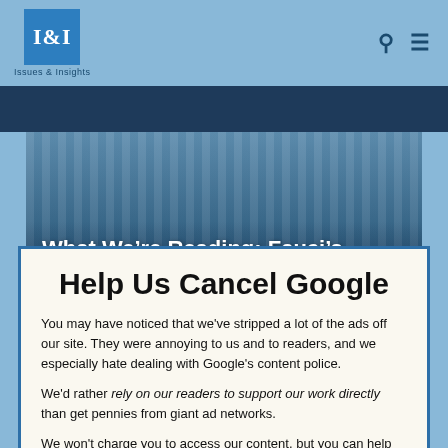I&I Issues & Insights
[Figure (screenshot): Article hero image with curtain/window background, text overlay reading: What We're Reading: Fauci's Farewell, Border Crisis, Biden's]
Help Us Cancel Google
You may have noticed that we've stripped a lot of the ads off our site. They were annoying to us and to readers, and we especially hate dealing with Google's content police.
We'd rather rely on our readers to support our work directly than get pennies from giant ad networks.
We won't charge you to access our content, but you can help us keep this site going with a donation.